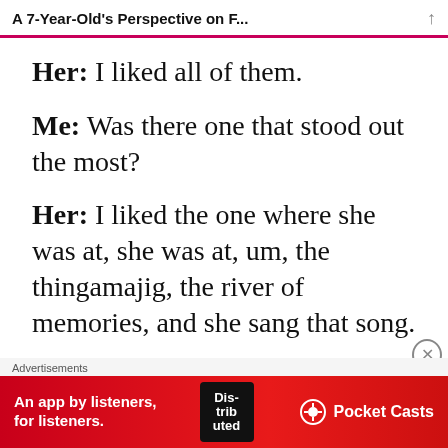A 7-Year-Old's Perspective on F...
Her: I liked all of them.
Me: Was there one that stood out the most?
Her: I liked the one where she was at, she was at, um, the thingamajig, the river of memories, and she sang that song.
Advertisements
[Figure (other): Red advertisement banner for Pocket Casts app reading 'An app by listeners, for listeners.' with Pocket Casts logo and a phone showing the app.]